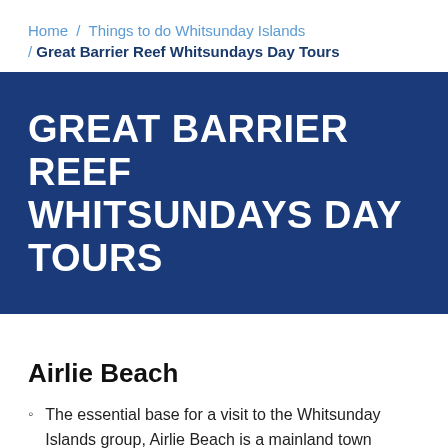Home / Things to do Whitsunday Islands / Great Barrier Reef Whitsundays Day Tours
GREAT BARRIER REEF WHITSUNDAYS DAY TOURS
Airlie Beach
The essential base for a visit to the Whitsunday Islands group, Airlie Beach is a mainland town overlooking the bays and islands and has its own unique village tropical